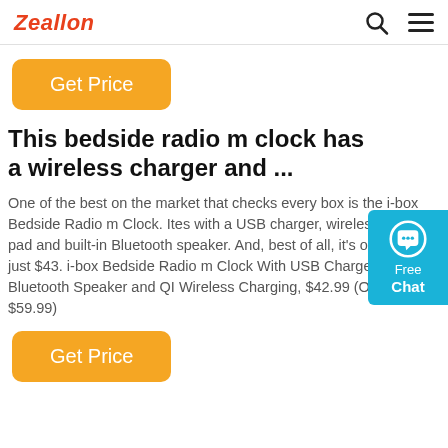Zeallon
[Figure (other): Orange 'Get Price' button]
[Figure (other): Blue 'Free Chat' chat widget with speech bubble icon]
This bedside radio m clock has a wireless charger and ...
One of the best on the market that checks every box is the i-box Bedside Radio m Clock. Ites with a USB charger, wireless charging pad and built-in Bluetooth speaker. And, best of all, it's on sale for just $43. i-box Bedside Radio m Clock With USB Charger, Bluetooth Speaker and QI Wireless Charging, $42.99 (Orig. $59.99)
[Figure (other): Orange 'Get Price' button at bottom]